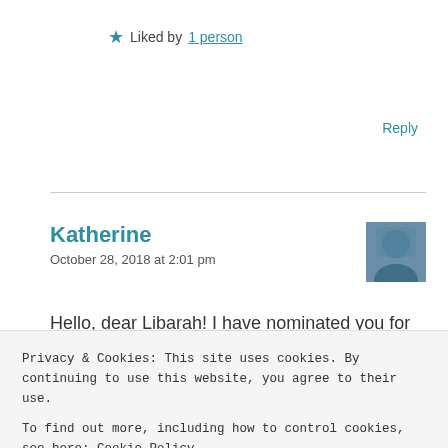★ Liked by 1 person
Reply
Katherine
October 28, 2018 at 2:01 pm
[Figure (photo): User avatar photo of Katherine]
Hello, dear Libarah! I have nominated you for the Blogger Recognition Award!
Privacy & Cookies: This site uses cookies. By continuing to use this website, you agree to their use.
To find out more, including how to control cookies, see here: Cookie Policy
Close and accept
libarah
[Figure (photo): User avatar photo of libarah]